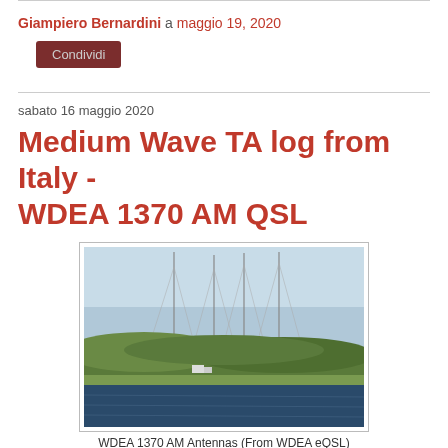Giampiero Bernardini a maggio 19, 2020
Condividi
sabato 16 maggio 2020
Medium Wave TA log from Italy - WDEA 1370 AM QSL
[Figure (photo): WDEA 1370 AM antenna towers seen from across a lake, with forested hills in background]
WDEA 1370 AM Antennas (From WDEA eQSL)